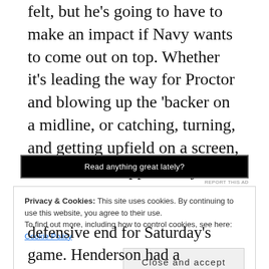felt, but he's going to have to make an impact if Navy wants to come out on top. Whether it's leading the way for Proctor and blowing up the 'backer on a midline, or catching, turning, and getting upfield on a screen, Teich has the opportunity to live up to his captain status this Saturday, and prove that he was more than just a fuming player after the tough loss to the Gamecocks.
[Figure (other): Advertisement banner with black background reading 'Read anything great lately?' with a 'REPORT THIS AD' link below]
Privacy & Cookies: This site uses cookies. By continuing to use this website, you agree to their use. To find out more, including how to control cookies, see here: Cookie Policy
defensive end for Saturday's game. Henderson had a